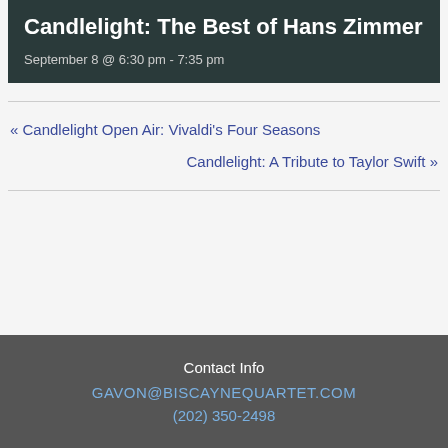Candlelight: The Best of Hans Zimmer
September 8 @ 6:30 pm - 7:35 pm
« Candlelight Open Air: Vivaldi's Four Seasons
Candlelight: A Tribute to Taylor Swift »
Contact Info
GAVON@BISCAYNEQUARTET.COM
(202) 350-2498